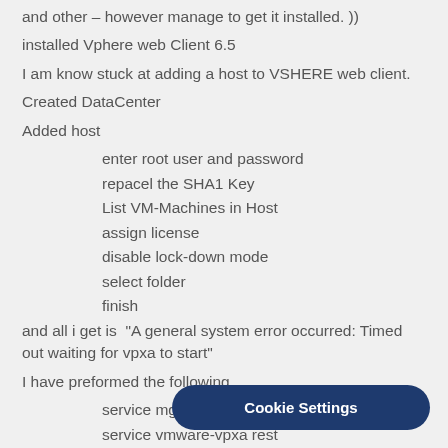and other – however manage to get it installed. ))
installed Vphere web Client 6.5
I am know stuck at adding a host to VSHERE web client.
Created DataCenter
Added host
enter root user and password
repacel the SHA1 Key
List VM-Machines in Host
assign license
disable lock-down mode
select folder
finish
and all i get is  "A general system error occurred: Timed out waiting for vpxa to start"
I have preformed the following
service mgmt-vmware restart
service vmware-vpxa rest
AND